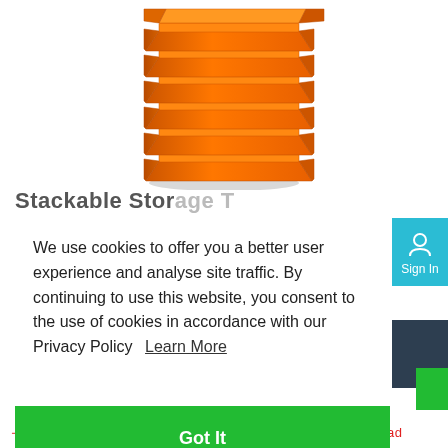[Figure (photo): Stack of orange plastic storage bins/organizer trays photographed on white background]
Stackable Storage T...
We use cookies to offer you a better user experience and analyse site traffic. By continuing to use this website, you consent to the use of cookies in accordance with our Privacy Policy  Learn More
Got It
Sign In
Road